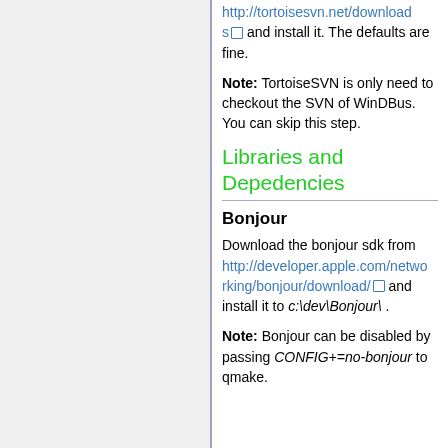http://tortoisesvn.net/downloads and install it. The defaults are fine.
Note: TortoiseSVN is only need to checkout the SVN of WinDBus. You can skip this step.
Libraries and Depedencies
Bonjour
Download the bonjour sdk from http://developer.apple.com/networking/bonjour/download/ and install it to c:\dev\Bonjour\ .
Note: Bonjour can be disabled by passing CONFIG+=no-bonjour to qmake.